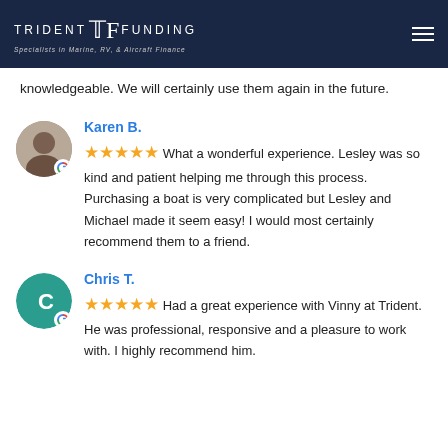TRIDENT FUNDING — Specialists in Marine, RV, & Aircraft Finance
knowledgeable. We will certainly use them again in the future.
Karen B.
★★★★★ What a wonderful experience. Lesley was so kind and patient helping me through this process. Purchasing a boat is very complicated but Lesley and Michael made it seem easy! I would most certainly recommend them to a friend.
Chris T.
★★★★★ Had a great experience with Vinny at Trident. He was professional, responsive and a pleasure to work with. I highly recommend him.